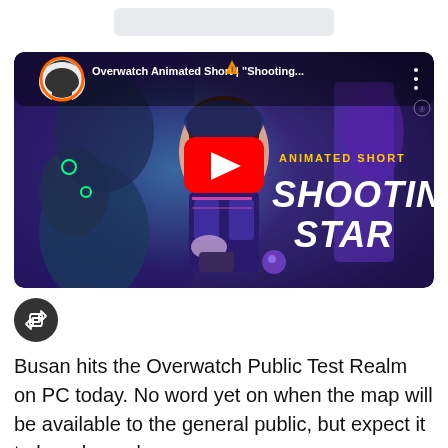[Figure (screenshot): YouTube video thumbnail for 'Overwatch Animated Short | Shooting Star' showing a female character in mech pilot gear with YouTube play button overlay. Text reads 'ANIMATED SHORT SHOOTING STAR'. Overwatch logo visible top left.]
[Figure (illustration): Dark circular share/reshare button icon]
Busan hits the Overwatch Public Test Realm on PC today. No word yet on when the map will be available to the general public, but expect it to be released